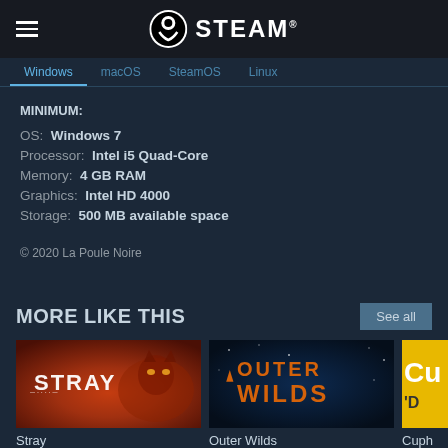Steam
Windows | macOS | SteamOS | Linux
MINIMUM:
OS: Windows 7
Processor: Intel i5 Quad-Core
Memory: 4 GB RAM
Graphics: Intel HD 4000
Storage: 500 MB available space
© 2020 La Poule Noire
MORE LIKE THIS
[Figure (screenshot): Stray game thumbnail - orange cat on red fiery background with Stray logo]
Stray
[Figure (screenshot): Outer Wilds game thumbnail - dark space background with orange Outer Wilds logo]
Outer Wilds
[Figure (screenshot): Partial Cuphead game thumbnail - yellow background with 'Cu' visible]
Cuph